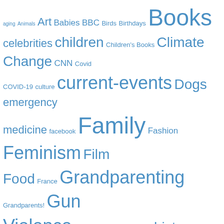[Figure (other): Tag cloud with words of varying sizes in blue, representing blog/website categories. Larger words include Books, Family, Feminism, Gun Violence, Nashville, Parenting, Politics, Psychology, Public Policy, Travel, Trump.]